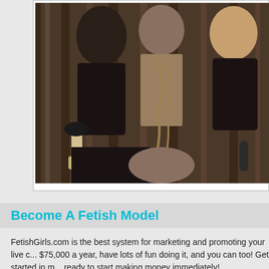[Figure (photo): A photograph showing multiple women in a fetish/BDSM themed scene against a wooden background.]
Become A Fetish Model
FetishGirls.com is the best system for marketing and promoting your live c... $75,000 a year, have lots of fun doing it, and you can too! Get started in m... ready to start making money immediately!